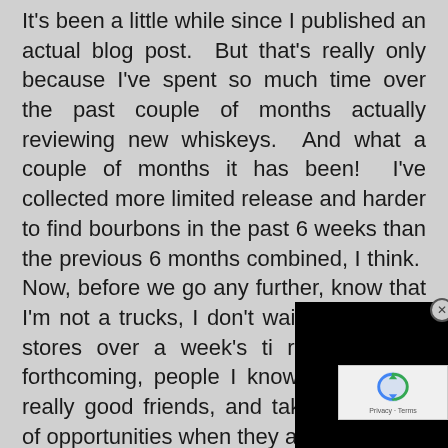It's been a little while since I published an actual blog post.  But that's really only because I've spent so much time over the past couple of months actually reviewing new whiskeys.  And what a couple of months it has been!  I've collected more limited release and harder to find bourbons in the past 6 weeks than the previous 6 months combined, I think.  Now, before we go any further, know that I'm not [obscured] trucks, I don't wait in line, [obscured] 30 stores over a week's ti[obscured] release that's forthcoming[obscured] people I know, have some really good friends, and take advantage of opportunities when they arise.
Thanks to a buddy, Chip, I was able to get a [obscured] of Old Forester Birthday Bourbon and a bottle of
[Figure (other): Black overlay/popup blocking part of the text content, with a close (X) button in the top right corner.]
[Figure (other): reCAPTCHA widget box in the bottom right corner showing Google reCAPTCHA logo and Privacy - Terms text.]